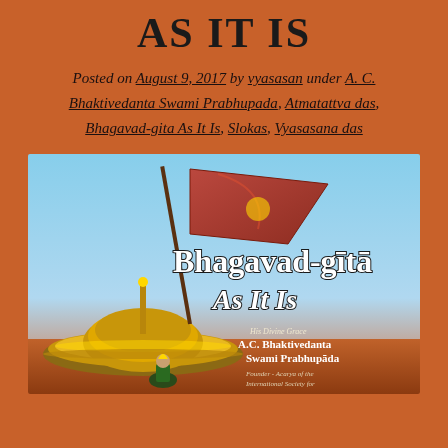AS IT IS
Posted on August 9, 2017 by vyasasan under A. C. Bhaktivedanta Swami Prabhupada, Atmatattva das, Bhagavad-gita As It Is, Slokas, Vyasasana das
[Figure (illustration): Book cover of Bhagavad-gita As It Is by His Divine Grace A.C. Bhaktivedanta Swami Prabhupada, Founder-Acarya of the International Society for Krishna Consciousness. Shows a chariot with a red flag against a blue sky background.]